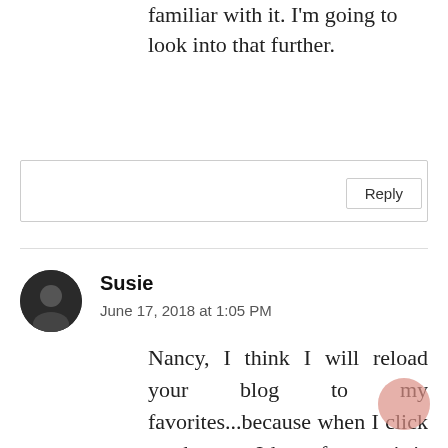familiar with it. I'm going to look into that further.
Reply
Susie
June 17, 2018 at 1:05 PM
Nancy, I think I will reload your blog to my favorites...because when I click on the spot I have for you it is from 2015. LOL Hope you and Dennis are loving your new home. You will this winter for sure. Blessings, and Happy Fathers Day to Dennis.xoxo, Susie